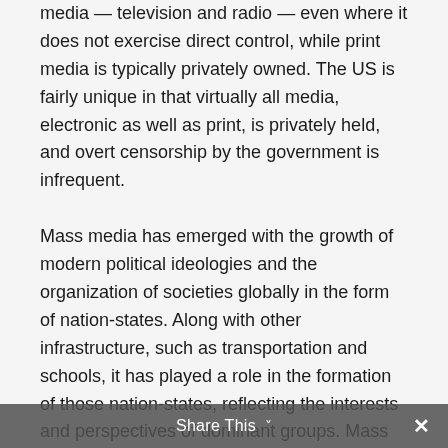media — television and radio — even where it does not exercise direct control, while print media is typically privately owned. The US is fairly unique in that virtually all media, electronic as well as print, is privately held, and overt censorship by the government is infrequent.
Mass media has emerged with the growth of modern political ideologies and the organization of societies globally in the form of nation-states. Along with other infrastructure, such as transportation and schools, it has played a role in the formation of those nation-states, reflecting the interests and perspectives of dominant groups. Mass media, as Eric
Share This ×